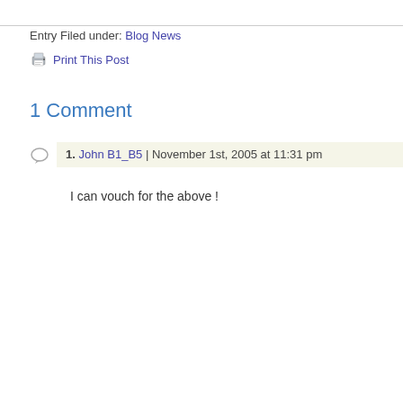Entry Filed under: Blog News
Print This Post
1 Comment
1. John B1_B5 | November 1st, 2005 at 11:31 pm
I can vouch for the above !